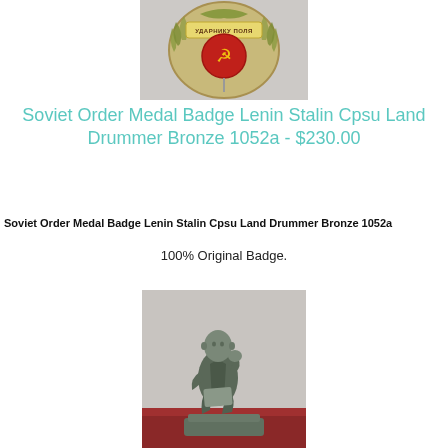[Figure (photo): Close-up photo of a Soviet medal badge with text 'Ударнику поля' and red enamel emblem on a light background]
Soviet Order Medal Badge Lenin Stalin Cpsu Land Drummer Bronze 1052a - $230.00
Soviet Order Medal Badge Lenin Stalin Cpsu Land Drummer Bronze 1052a
100% Original Badge.
[Figure (photo): Photo of a dark bronze/pewter figurine of a seated man (Lenin) in a contemplative pose on a rectangular base, with a red cloth visible in the background]